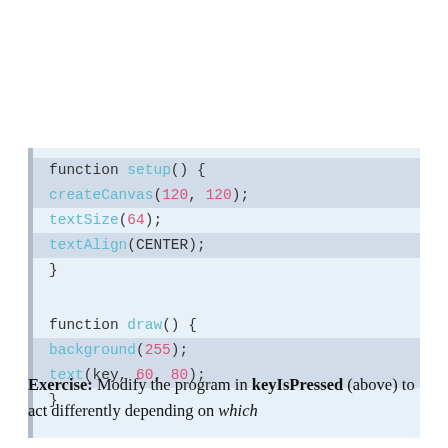[Figure (screenshot): Code editor screenshot showing two functions: setup() with createCanvas(120,120), textSize(64), textAlign(CENTER); and draw() with background(255), text(key, 60, 80). Syntax highlighted with cyan for function names, pink for numbers, dark for keywords.]
Exercise: Modify the program in keyIsPressed (above) to act differently depending on which